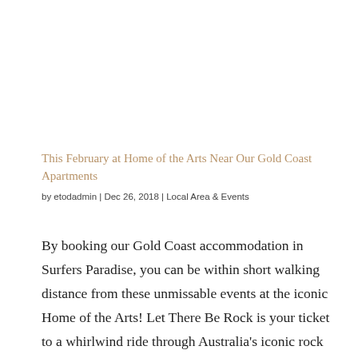This February at Home of the Arts Near Our Gold Coast Apartments
by etodadmin | Dec 26, 2018 | Local Area & Events
By booking our Gold Coast accommodation in Surfers Paradise, you can be within short walking distance from these unmissable events at the iconic Home of the Arts! Let There Be Rock is your ticket to a whirlwind ride through Australia's iconic rock music